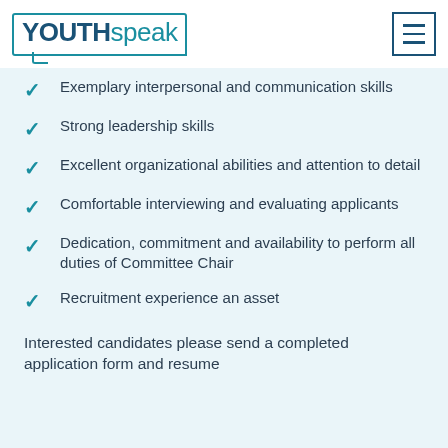YOUTHspeak
Exemplary interpersonal and communication skills
Strong leadership skills
Excellent organizational abilities and attention to detail
Comfortable interviewing and evaluating applicants
Dedication, commitment and availability to perform all duties of Committee Chair
Recruitment experience an asset
Interested candidates please send a completed application form and resume